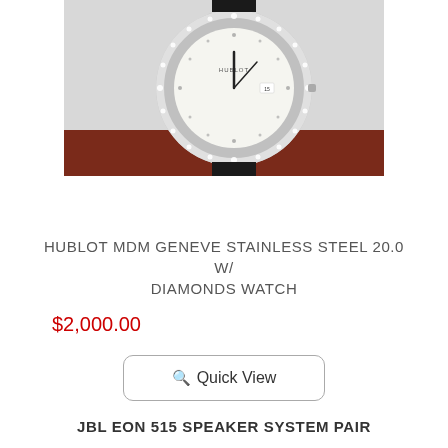[Figure (photo): Hublot MDM Geneve stainless steel watch with diamond bezel, white mother-of-pearl dial, displayed against a light background with a dark strap portion and reddish surface visible at bottom.]
HUBLOT MDM GENEVE STAINLESS STEEL 20.0 W/ DIAMONDS WATCH
$2,000.00
Quick View
JBL EON 515 SPEAKER SYSTEM PAIR